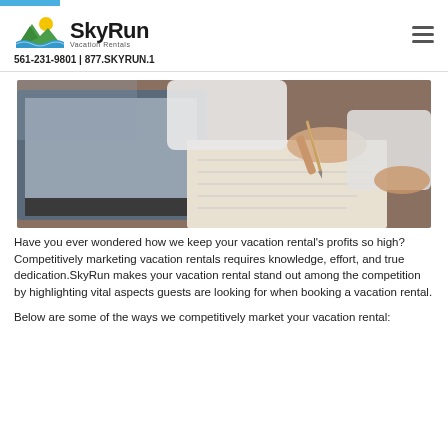[Figure (logo): SkyRun Vacation Rentals logo with mountain/wave/sun icon and tagline]
561-231-9801 | 877.SKYRUN.1
[Figure (photo): Business meeting photo showing hands writing on paper with a laptop open on a wooden desk]
Have you ever wondered how we keep your vacation rental's profits so high?Competitively marketing vacation rentals requires knowledge, effort, and true dedication.SkyRun makes your vacation rental stand out among the competition by highlighting vital aspects guests are looking for when booking a vacation rental.
Below are some of the ways we competitively market your vacation rental: